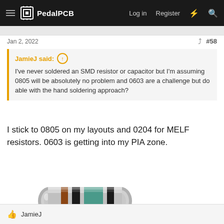PedalPCB — Log in  Register
Jan 2, 2022   #58
JamieJ said: ↑ I've never soldered an SMD resistor or capacitor but I'm assuming 0805 will be absolutely no problem and 0603 are a challenge but do able with the hand soldering approach?
I stick to 0805 on my layouts and 0204 for MELF resistors. 0603 is getting into my PIA zone.
[Figure (photo): A MELF resistor component — cylindrical resistor with metallic silver end caps and colored bands: brown, black, and teal/blue bands on a silver body]
👍 JamieJ